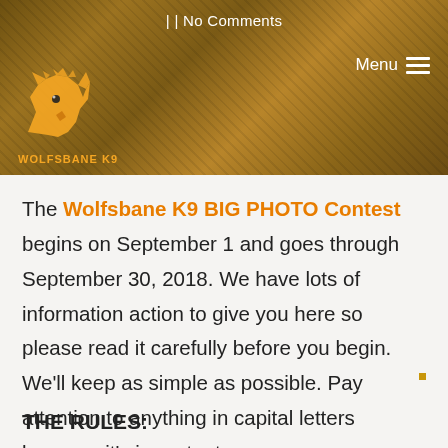[Figure (photo): Website header banner with earthy brown/dirt textured background showing a wolf logo (Wolfsbane K9) in yellow/orange on the left, 'No Comments' text in white at top center, and a white hamburger menu icon with 'Menu' text on the right.]
The Wolfsbane K9 BIG PHOTO Contest begins on September 1 and goes through September 30, 2018. We have lots of information action to give you here so please read it carefully before you begin. We'll keep as simple as possible. Pay attention to anything in capital letters because it's important.
THE RULES: